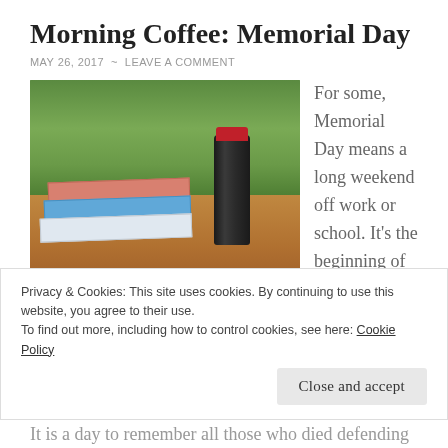Morning Coffee: Memorial Day
MAY 26, 2017  ~  LEAVE A COMMENT
[Figure (photo): A black thermos/travel mug with a red top sitting on a wooden deck next to a stack of gardening and craft books, with green plants and foliage in the background.]
For some, Memorial Day means a long weekend off work or school. It's the beginning of summer and is
Privacy & Cookies: This site uses cookies. By continuing to use this website, you agree to their use.
To find out more, including how to control cookies, see here: Cookie Policy
Close and accept
It is a day to remember all those who died defending